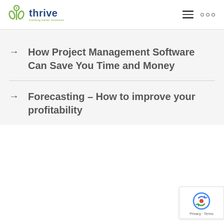thrive — building better business
How Project Management Software Can Save You Time and Money
Forecasting – How to improve your profitability